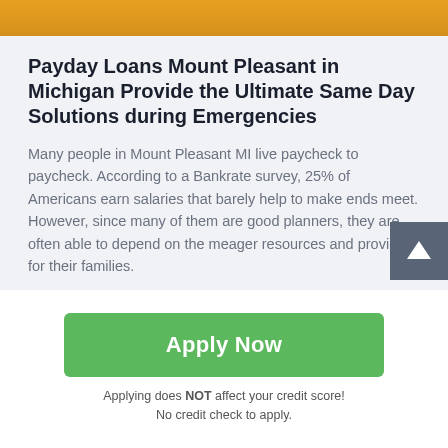[Figure (photo): Partial view of a person in a yellow/orange outfit, cropped at the top of the page]
Payday Loans Mount Pleasant in Michigan Provide the Ultimate Same Day Solutions during Emergencies
Many people in Mount Pleasant MI live paycheck to paycheck. According to a Bankrate survey, 25% of Americans earn salaries that barely help to make ends meet. However, since many of them are good planners, they are often able to depend on the meager resources and provide for their families.
Given the lack of adequate money, they usually have
Apply Now
Applying does NOT affect your credit score!
No credit check to apply.